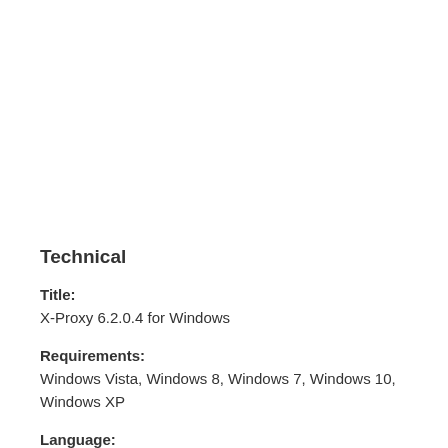Technical
Title:
X-Proxy 6.2.0.4 for Windows
Requirements:
Windows Vista, Windows 8, Windows 7, Windows 10, Windows XP
Language:
English